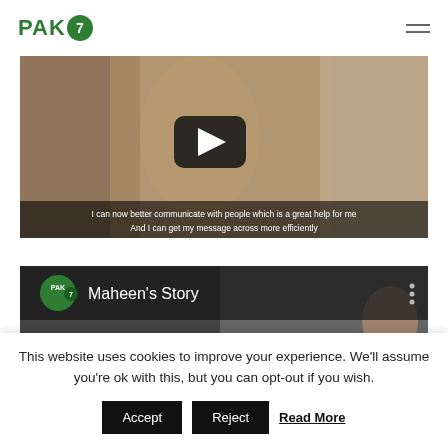[Figure (logo): PAK7 logo in dark green with a circular badge containing the number 7]
[Figure (screenshot): Video thumbnail showing a woman in a room with a YouTube-style play button overlay and subtitles reading: I can now better communicate with people which is a great help for me And I can get my message across more efficiently]
[Figure (screenshot): Second YouTube video thumbnail showing PAK7 logo badge and title Maheen's Story with three-dot menu]
This website uses cookies to improve your experience. We'll assume you're ok with this, but you can opt-out if you wish.
Accept  Reject  Read More